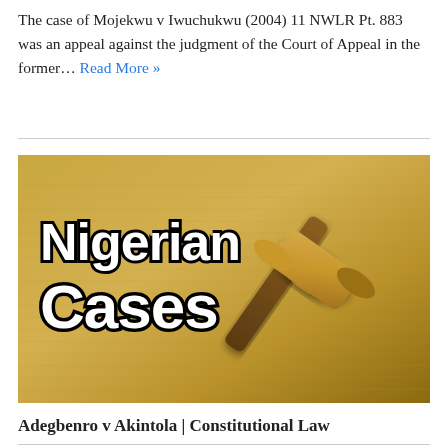The case of Mojekwu v Iwuchukwu (2004) 11 NWLR Pt. 883 was an appeal against the judgment of the Court of Appeal in the former… Read More »
[Figure (illustration): Illustrated banner image with golden-toned background showing a judge's gavel resting on a document, with bold black text reading 'Nigerian Cases' outlined in white.]
Adegbenro v Akintola | Constitutional Law